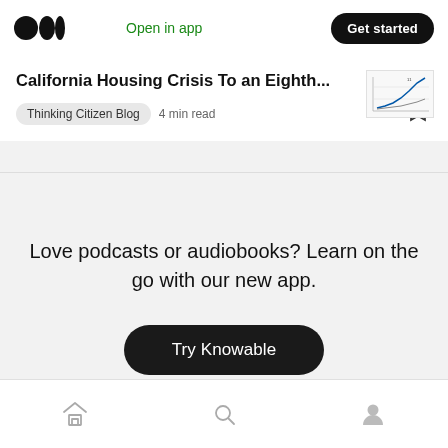Medium logo | Open in app | Get started
California Housing Crisis To an Eighth...
Thinking Citizen Blog  4 min read
[Figure (line-chart): Small thumbnail line chart showing upward trend]
Love podcasts or audiobooks? Learn on the go with our new app.
Try Knowable
Home | Search | Profile navigation icons